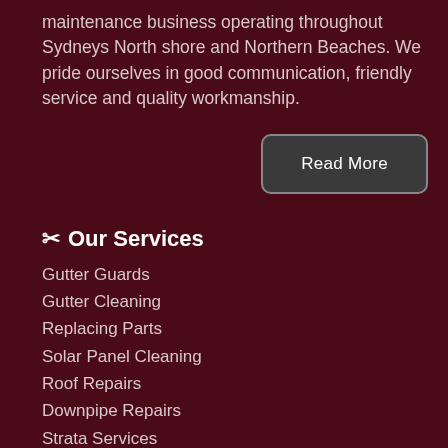maintenance business operating throughout Sydneys North shore and Northern Beaches. We pride ourselves in good communication, friendly service and quality workmanship.
Read More
✂ Our Services
Gutter Guards
Gutter Cleaning
Replacing Parts
Solar Panel Cleaning
Roof Repairs
Downpipe Repairs
Strata Services